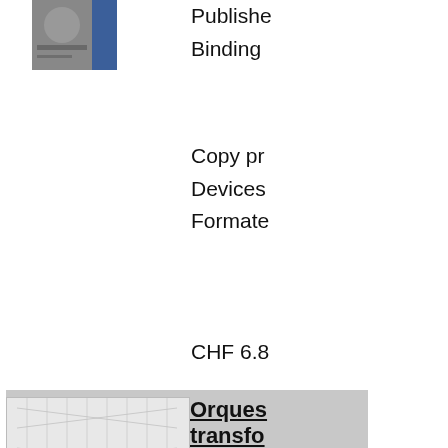[Figure (photo): Partial book cover visible at top right, dark tones]
Publisher
Binding
Copy pr
Devices
Formate
CHF 6.8
[Figure (photo): Book cover of Orquestacion de la Transformacion with network diagram and orange title text]
Orques
transfo
Author: 
Macaula
Barbier
ISBN/IS
Publishe
Binding
Copy pr
Devices
Formate